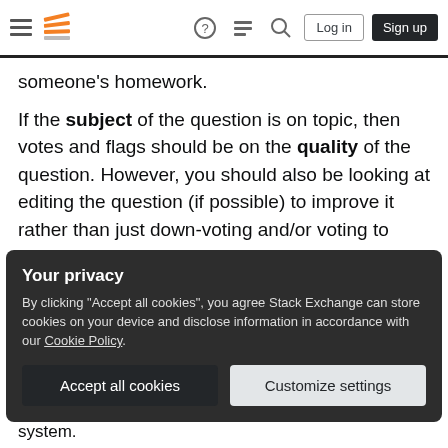Stack Exchange navigation bar with hamburger menu, logo, help, chat, search icons, Log in and Sign up buttons
someone's homework.
If the subject of the question is on topic, then votes and flags should be on the quality of the question. However, you should also be looking at editing the question (if possible) to improve it rather than just down-voting and/or voting to close. Also be careful of assuming that just because the situation described appears to be artificial that it is homework. There may be genuine reasons that the poster hasn't gone into that mean that things have
Your privacy
By clicking "Accept all cookies", you agree Stack Exchange can store cookies on your device and disclose information in accordance with our Cookie Policy.
Accept all cookies
Customize settings
system.